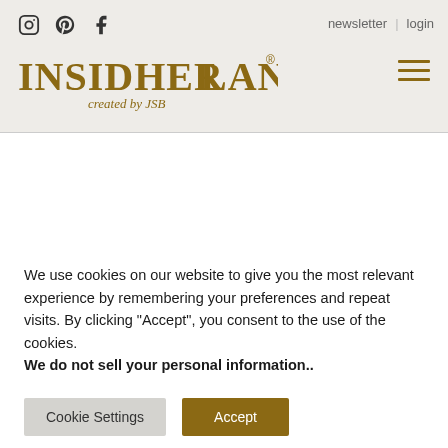INSIDHERLAND created by JSB — newsletter | login — Instagram, Pinterest, Facebook icons
We use cookies on our website to give you the most relevant experience by remembering your preferences and repeat visits. By clicking “Accept”, you consent to the use of the cookies.
We do not sell your personal information..